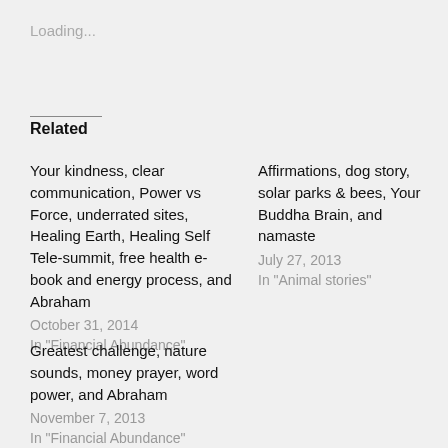Loading...
Related
Your kindness, clear communication, Power vs Force, underrated sites, Healing Earth, Healing Self Tele-summit, free health e-book and energy process, and Abraham
October 31, 2014
In "Financial Abundance"
Affirmations, dog story, solar parks & bees, Your Buddha Brain, and namaste
July 27, 2013
In "Animal stories"
Greatest challenge, nature sounds, money prayer, word power, and Abraham
November 7, 2013
In "Financial Abundance"